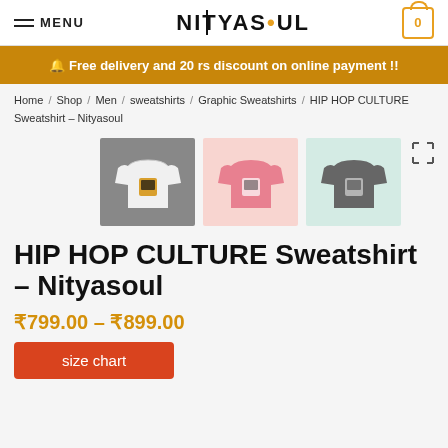MENU | NITYASOUL | 0
🔔 Free delivery and 20 rs discount on online payment !!
Home / Shop / Men / sweatshirts / Graphic Sweatshirts / HIP HOP CULTURE Sweatshirt – Nityasoul
[Figure (photo): Three sweatshirts: white on grey background, pink on pink background, grey on light teal background, each featuring a graphic design]
HIP HOP CULTURE Sweatshirt – Nityasoul
₹799.00 – ₹899.00
size chart